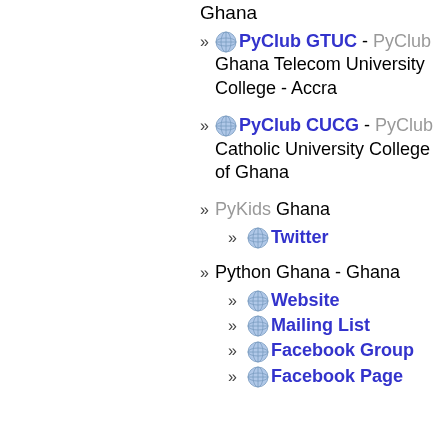Ghana
PyClub GTUC - PyClub Ghana Telecom University College - Accra
PyClub CUCG - PyClub Catholic University College of Ghana
PyKids Ghana
Twitter
Python Ghana - Ghana
Website
Mailing List
Facebook Group
Facebook Page